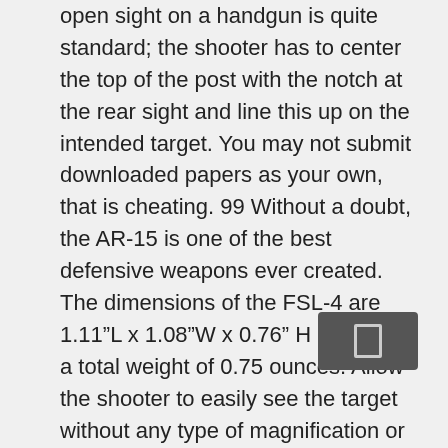open sight on a handgun is quite standard; the shooter has to center the top of the post with the notch at the rear sight and line this up on the intended target. You may not submit downloaded papers as your own, that is cheating. 99 Without a doubt, the AR-15 is one of the best defensive weapons ever created. The dimensions of the FSL-4 are 1.11”L x 1.08”W x 0.76” H and it has a total weight of 0.75 ounces. Allow the shooter to easily see the target without any type of magnification or optical fibers. I’m running a relatively cheap weaver pistol scope on my 7.5 inch pistol and really like it. You Shouldn’t Put a Cheap Red Dot Sight on an AR-15 or other High Power Firearm. The bead is used only for a reference as the shotgun is pointed and moved to follow flying or running targets. Open sights are simple; they don’t need optic filters that project glowing dots or a fragile telescope to magnify the target. They also allow the shooter to